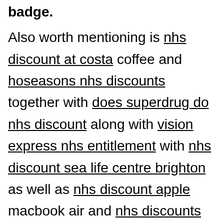badge.
Also worth mentioning is nhs discount at costa coffee and hoseasons nhs discounts together with does superdrug do nhs discount along with vision express nhs entitlement with nhs discount sea life centre brighton as well as nhs discount apple macbook air and nhs discounts black card login